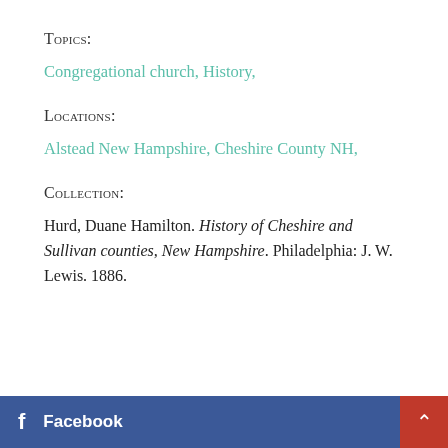Topics:
Congregational church, History,
Locations:
Alstead New Hampshire, Cheshire County NH,
Collection:
Hurd, Duane Hamilton. History of Cheshire and Sullivan counties, New Hampshire. Philadelphia: J. W. Lewis. 1886.
f Facebook